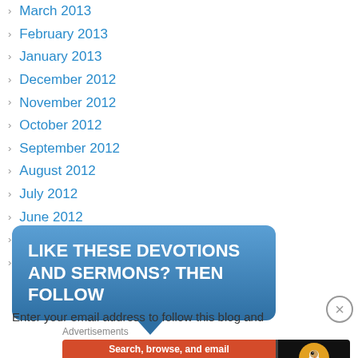March 2013
February 2013
January 2013
December 2012
November 2012
October 2012
September 2012
August 2012
July 2012
June 2012
May 2012
May 2009
LIKE THESE DEVOTIONS AND SERMONS? THEN FOLLOW
Enter your email address to follow this blog and
Advertisements
[Figure (screenshot): DuckDuckGo advertisement banner: orange left section with text 'Search, browse, and email with more privacy. All in One Free App', dark right section with DuckDuckGo logo]